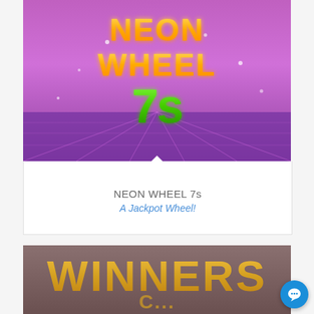[Figure (screenshot): Neon Wheel 7s slot game promotional image with colorful neon text and a large green '7s' on a pink/purple background with stars]
NEON WHEEL 7s
A Jackpot Wheel!
[Figure (screenshot): Winners Circle slot game promotional image with gold stylized text on a dark mauve/taupe background]